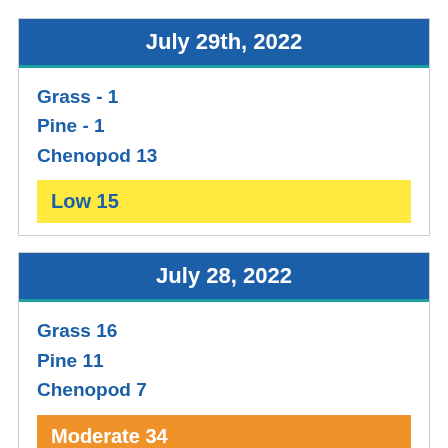July 29th, 2022
Grass - 1
Pine - 1
Chenopod 13
Low 15
July 28, 2022
Grass 16
Pine 11
Chenopod 7
Moderate 34